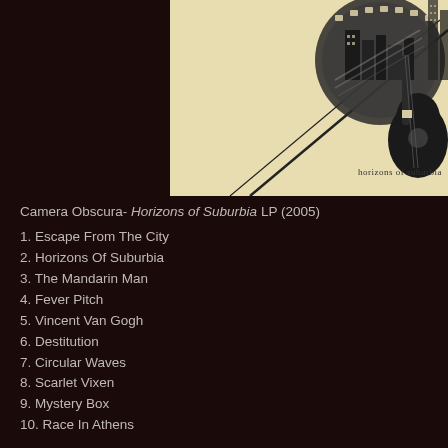[Figure (illustration): Album cover art for Camera Obscura's Horizons of Suburbia LP (2005). Cream/beige background with an illustrated urban/suburban scene featuring railway tracks, a guitar silhouette, and city buildings. Text reads 'horizons of suburbia' in the lower right.]
Camera Obscura- Horizons of Suburbia LP (2005)
1. Escape From The City
2. Horizons Of Suburbia
3. The Mandarin Man
4. Fever Pitch
5. Vincent Van Gogh
6. Destitution
7. Circular Waves
8. Scarlet Vixen
9. Mystery Box
10. Race In Athens
*DOWNLOAD LINK REMOVED BY REQUEST*